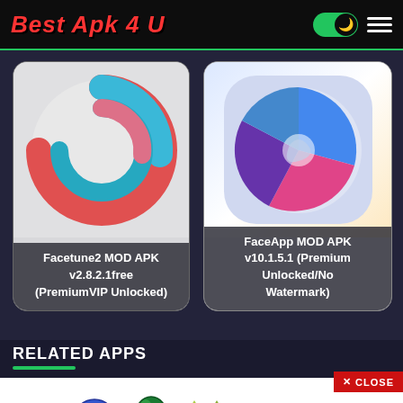Best Apk 4 U
[Figure (screenshot): Facetune2 MOD APK app card with circular gradient logo]
Facetune2 MOD APK v2.8.2.1free (PremiumVIP Unlocked)
[Figure (screenshot): FaceApp MOD APK app card with colorful circle logo]
FaceApp MOD APK v10.1.5.1 (Premium Unlocked/No Watermark)
RELATED APPS
[Figure (photo): Leibish advertisement banner showing gemstones: $162,408, $190,457, $6,277, $19,536, $32,168]